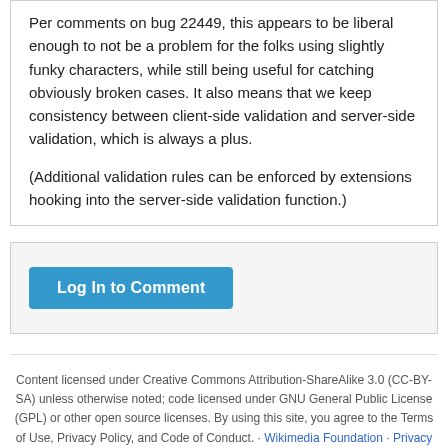Per comments on bug 22449, this appears to be liberal enough to not be a problem for the folks using slightly funky characters, while still being useful for catching obviously broken cases. It also means that we keep consistency between client-side validation and server-side validation, which is always a plus.

(Additional validation rules can be enforced by extensions hooking into the server-side validation function.)
Log In to Comment
Content licensed under Creative Commons Attribution-ShareAlike 3.0 (CC-BY-SA) unless otherwise noted; code licensed under GNU General Public License (GPL) or other open source licenses. By using this site, you agree to the Terms of Use, Privacy Policy, and Code of Conduct. · Wikimedia Foundation · Privacy Policy · Code of Conduct · Terms of Use · Disclaimer · CC-BY-SA · GPL